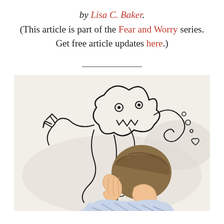by Lisa C. Baker. (This article is part of the Fear and Worry series. Get free article updates here.)
[Figure (photo): A child lying face-down with hands covering their face, surrounded by doodle illustrations of monsters and swirling creatures drawn on a white background.]